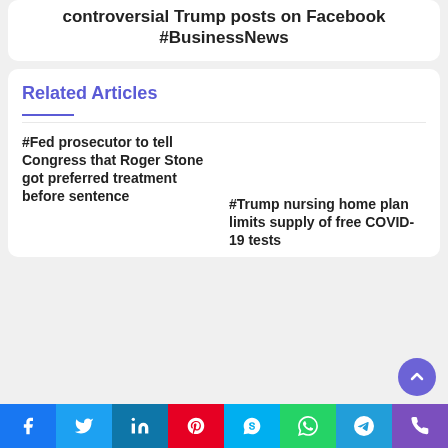controversial Trump posts on Facebook #BusinessNews
Related Articles
#Fed prosecutor to tell Congress that Roger Stone got preferred treatment before sentence
#Trump nursing home plan limits supply of free COVID-19 tests
Social share buttons: Facebook, Twitter, LinkedIn, Pinterest, Skype, WhatsApp, Telegram, Phone